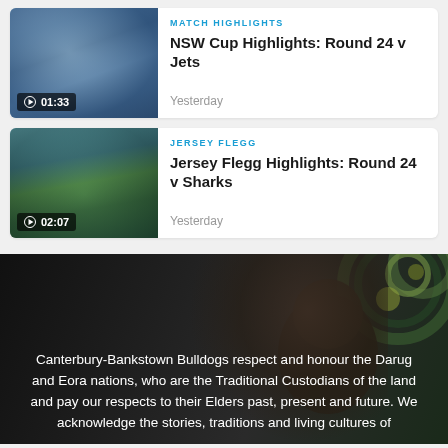[Figure (screenshot): Card 1: Thumbnail of rugby players embracing in blue jerseys with video duration badge 01:33]
MATCH HIGHLIGHTS
NSW Cup Highlights: Round 24 v Jets
Yesterday
[Figure (screenshot): Card 2: Thumbnail of rugby team players in blue and white jerseys on green field with video duration badge 02:07]
JERSEY FLEGG
Jersey Flegg Highlights: Round 24 v Sharks
Yesterday
[Figure (photo): Dark photograph of an Indigenous person with decorative headdress featuring green and yellow circular patterns]
Canterbury-Bankstown Bulldogs respect and honour the Darug and Eora nations, who are the Traditional Custodians of the land and pay our respects to their Elders past, present and future. We acknowledge the stories, traditions and living cultures of